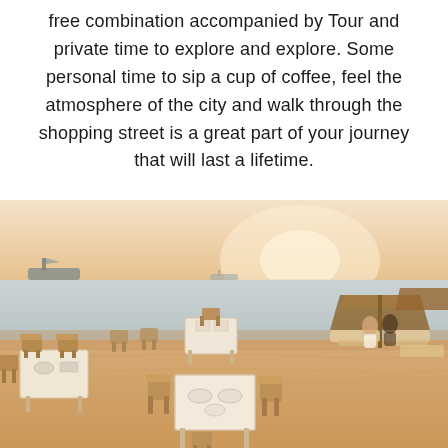free combination accompanied by Tour and private time to explore and explore. Some personal time to sip a cup of coffee, feel the atmosphere of the city and walk through the shopping street is a great part of your journey that will last a lifetime.
[Figure (photo): A beach restaurant scene at golden hour with wooden tables and chairs set on sand, thatched umbrellas on the right, lounge chairs, calm sea with a boat in the background, and a warm sunset sky.]